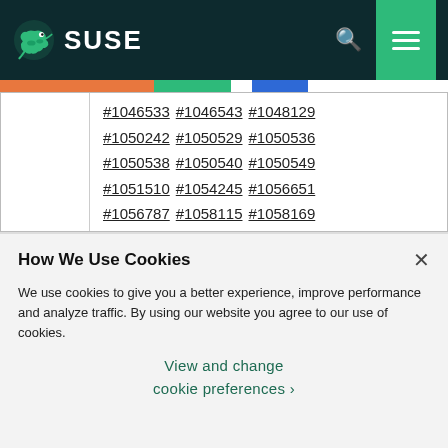SUSE navigation bar with logo, search and menu icons
|  | Bug references |
| --- | --- |
|  | #1046533 #1046543 #1048129 #1050242 #1050529 #1050536 #1050538 #1050540 #1050549 #1051510 #1054245 #1056651 #1056787 #1058115 #1058169 #1058659 #1060463 #1066110 |
How We Use Cookies
We use cookies to give you a better experience, improve performance and analyze traffic. By using our website you agree to our use of cookies.
View and change cookie preferences >